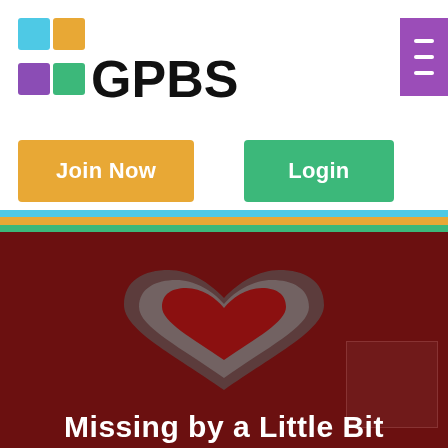[Figure (logo): GPBS logo with four colored squares (blue, orange, purple, green) arranged in a 2x2 grid, followed by bold text GPBS]
[Figure (other): Purple hamburger/menu icon button in top right corner]
Join Now
Login
[Figure (other): Three horizontal colored stripes: blue, gold/orange, green]
[Figure (illustration): Dark red/maroon hero banner with a large heart silhouette shape and partial text 'Missing by a Little Bit' at the bottom in white bold font]